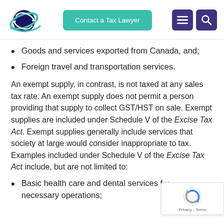[Figure (logo): Planet/orbit logo with swoosh marks in dark blue and teal]
[Figure (screenshot): Contact a Tax Lawyer button in teal/green]
[Figure (infographic): Two purple icon buttons (hamburger menu and magnifying glass)]
Goods and services exported from Canada, and;
Foreign travel and transportation services.
An exempt supply, in contrast, is not taxed at any sales tax rate. An exempt supply does not permit a person providing that supply to collect GST/HST on sale. Exempt supplies are included under Schedule V of the Excise Tax Act. Exempt supplies generally include services that society at large would consider inappropriate to tax. Examples included under Schedule V of the Excise Tax Act include, but are not limited to:
Basic health care and dental services for necessary operations;